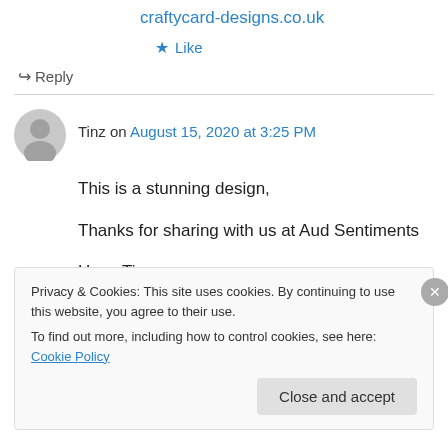craftycard-designs.co.uk
★ Like
↪ Reply
Tinz on August 15, 2020 at 3:25 PM
This is a stunning design,

Thanks for sharing with us at Aud Sentiments

Hugz Tinz
Privacy & Cookies: This site uses cookies. By continuing to use this website, you agree to their use.
To find out more, including how to control cookies, see here: Cookie Policy
Close and accept